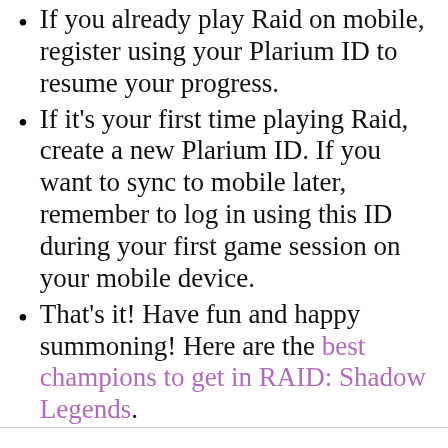If you already play Raid on mobile, register using your Plarium ID to resume your progress.
If it's your first time playing Raid, create a new Plarium ID. If you want to sync to mobile later, remember to log in using this ID during your first game session on your mobile device.
That's it! Have fun and happy summoning! Here are the best champions to get in RAID: Shadow Legends.